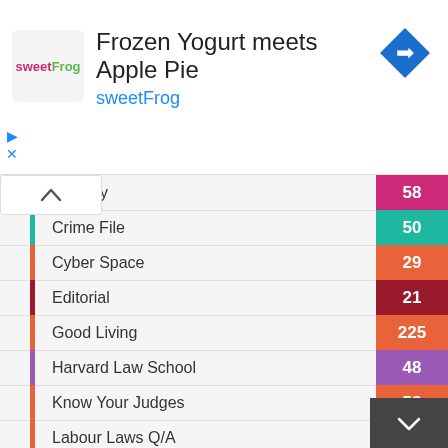[Figure (screenshot): Ad banner for sweetFrog frozen yogurt app with logo, title 'Frozen Yogurt meets Apple Pie', subtitle 'sweetFrog', and navigation arrow icon]
er Story — 58
Crime File — 50
Cyber Space — 29
Editorial — 21
Good Living — 225
Harvard Law School — 48
Know Your Judges — 58
Labour Laws Q/A — 44
Lawyers Wit